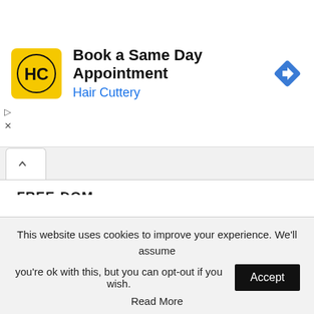[Figure (screenshot): Hair Cuttery advertisement banner: yellow square logo with HC initials, text 'Book a Same Day Appointment' and 'Hair Cuttery' in blue, blue diamond navigation icon on right.]
FREE-DOM
April 13, 2013 - 8:45 pm
where to Begin, Menachem?? The world cannot sustain all of these people now, so thanks for doing your part to leave it early......
THE DOG
This website uses cookies to improve your experience. We'll assume you're ok with this, but you can opt-out if you wish.
Read More